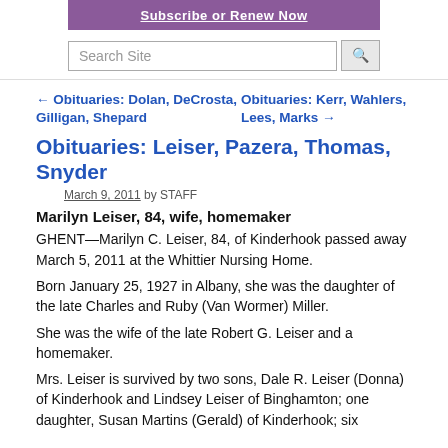[Figure (screenshot): Purple subscribe banner with white underlined bold text 'Subscribe or Renew Now']
[Figure (screenshot): Search site input box with magnifying glass search button]
← Obituaries: Dolan, DeCrosta, Gilligan, Shepard
Obituaries: Kerr, Wahlers, Lees, Marks →
Obituaries: Leiser, Pazera, Thomas, Snyder
March 9, 2011 by STAFF
Marilyn Leiser, 84, wife, homemaker
GHENT—Marilyn C. Leiser, 84, of Kinderhook passed away March 5, 2011 at the Whittier Nursing Home.
Born January 25, 1927 in Albany, she was the daughter of the late Charles and Ruby (Van Wormer) Miller.
She was the wife of the late Robert G. Leiser and a homemaker.
Mrs. Leiser is survived by two sons, Dale R. Leiser (Donna) of Kinderhook and Lindsey Leiser of Binghamton; one daughter, Susan Martins (Gerald) of Kinderhook; six